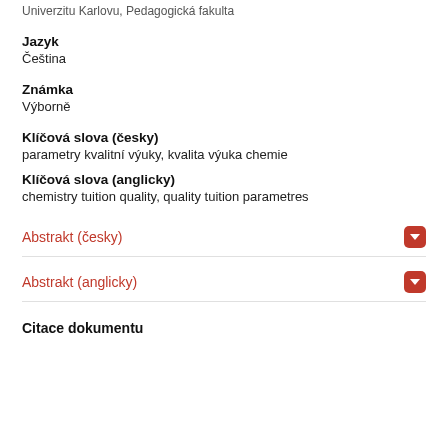Univerzitu Karlovu, Pedagogická fakulta
Jazyk
Čeština
Známka
Výborně
Klíčová slova (česky)
parametry kvalitní výuky, kvalita výuka chemie
Klíčová slova (anglicky)
chemistry tuition quality, quality tuition parametres
Abstrakt (česky)
Abstrakt (anglicky)
Citace dokumentu